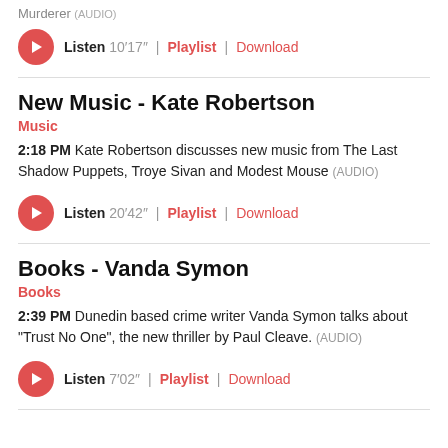Murderer . (AUDIO)
Listen 10'17" | Playlist | Download
New Music - Kate Robertson
Music
2:18 PM Kate Robertson discusses new music from The Last Shadow Puppets, Troye Sivan and Modest Mouse (AUDIO)
Listen 20'42" | Playlist | Download
Books - Vanda Symon
Books
2:39 PM Dunedin based crime writer Vanda Symon talks about "Trust No One", the new thriller by Paul Cleave. (AUDIO)
Listen 7'02" | Playlist | Download